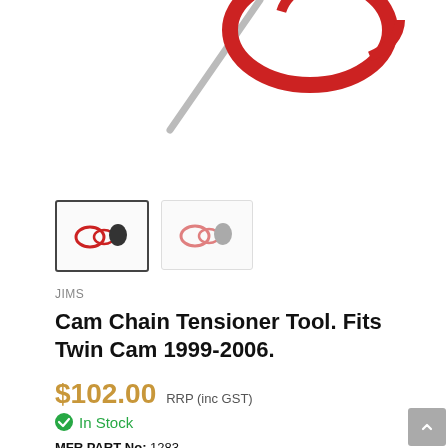[Figure (photo): Product photo of Cam Chain Tensioner Tool parts — red ring/loop clips and a grey metal rod partially cropped at top; two thumbnail images shown below the main image.]
JIMS
Cam Chain Tensioner Tool. Fits Twin Cam 1999-2006.
$102.00  RRP (inc GST)
In Stock
MFR PART No: 1283